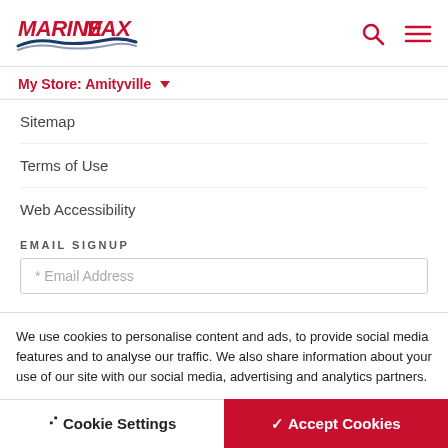[Figure (logo): MarineMax logo with red text and blue wave graphic]
My Store: Amityville
Sitemap
Terms of Use
Web Accessibility
EMAIL SIGNUP
* Email Address
We use cookies to personalise content and ads, to provide social media features and to analyse our traffic. We also share information about your use of our site with our social media, advertising and analytics partners.
Other Events
❯ Cookie Settings
✓ Accept Cookies